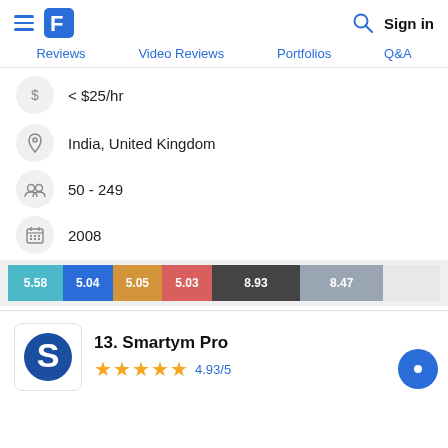≡ [logo] [search] Sign in
Reviews  Video Reviews  Portfolios  Q&A
< $25/hr
India, United Kingdom
50 - 249
2008
[Figure (stacked-bar-chart): Score breakdown bar]
13. Smartym Pro
4.93/5